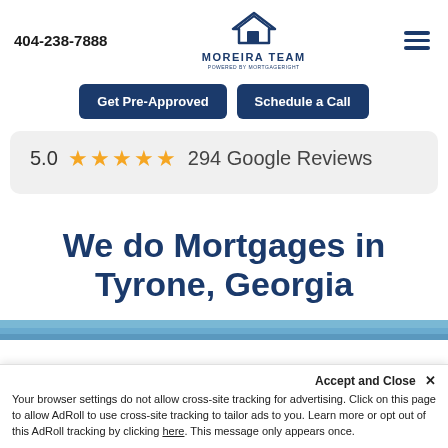404-238-7888 | Moreira Team | Powered by MortgagRight
Get Pre-Approved | Schedule a Call
5.0 ★★★★★ 294 Google Reviews
We do Mortgages in Tyrone, Georgia
[Figure (photo): Partial view of a property or street image, partially visible at the bottom of the page]
Accept and Close ✕
Your browser settings do not allow cross-site tracking for advertising. Click on this page to allow AdRoll to use cross-site tracking to tailor ads to you. Learn more or opt out of this AdRoll tracking by clicking here. This message only appears once.